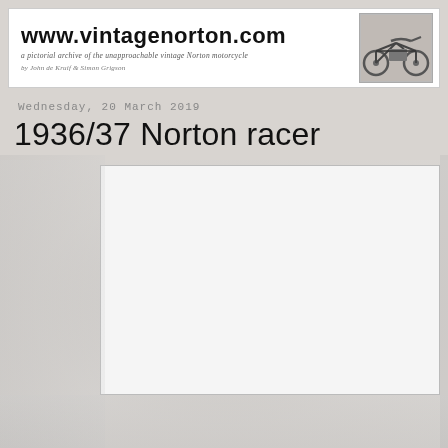www.vintagenorton.com — a pictorial archive of the unapproachable vintage Norton motorcycle — by John de Kruif & Simon Grigson
Wednesday, 20 March 2019
1936/37 Norton racer
[Figure (photo): White/blank main content photo placeholder — image of a 1936/37 Norton racer motorcycle, content not visible]
[Figure (photo): Small vintage Norton motorcycle photograph shown in the header banner on the right side]